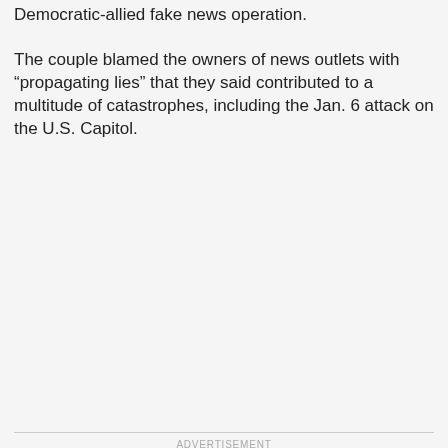Democratic-allied fake news operation.
The couple blamed the owners of news outlets with “propagating lies” that they said contributed to a multitude of catastrophes, including the Jan. 6 attack on the U.S. Capitol.
ADVERTISEMENT